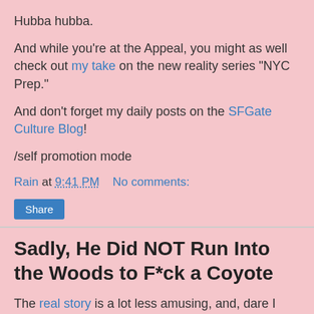Hubba hubba.
And while you're at the Appeal, you might as well check out my take on the new reality series "NYC Prep."
And don't forget my daily posts on the SFGate Culture Blog!
/self promotion mode
Rain at 9:41 PM    No comments:
Share
Sadly, He Did NOT Run Into the Woods to F*ck a Coyote
The real story is a lot less amusing, and, dare I say, BORING in its cliches.
But it was fun to pretend for a while.